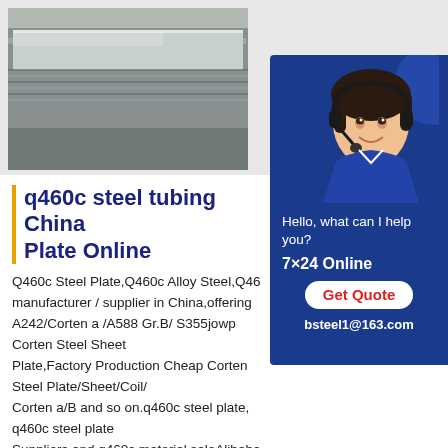[Figure (photo): Steel plate/sheet shown stacked in warehouse setting, grey metallic surface visible]
[Figure (infographic): Customer service chat widget with blue background showing a woman wearing headset, text: Hello, what can I help you? 7×24 Online, Get Quote button, bsteel1@163.com]
q460c steel tubing China Plate Online
Q460c Steel Plate,Q460c Alloy Steel,Q46 manufacturer / supplier in China,offering A242/Corten a /A588 Gr.B/ S355jowp Corten Steel Sheet Plate,Factory Production Cheap Corten Steel Plate/Sheet/Coil/ Corten a/B and so on.q460c steel plate, q460c steel plate Suppliers and q460c material saleAlibaba q460c material sale offers 1,698 q460c steel plate products. A wide variety of q460c